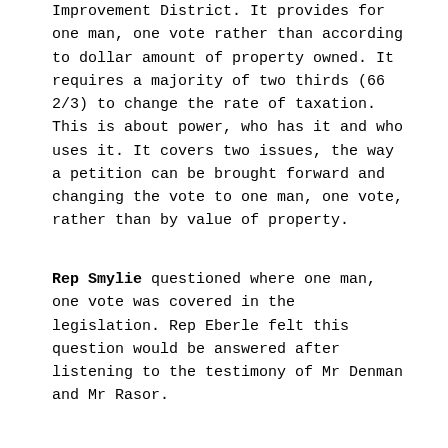Improvement District. It provides for one man, one vote rather than according to dollar amount of property owned. It requires a majority of two thirds (66 2/3) to change the rate of taxation. This is about power, who has it and who uses it. It covers two issues, the way a petition can be brought forward and changing the vote to one man, one vote, rather than by value of property.
Rep Smylie questioned where one man, one vote was covered in the legislation. Rep Eberle felt this question would be answered after listening to the testimony of Mr Denman and Mr Rasor.